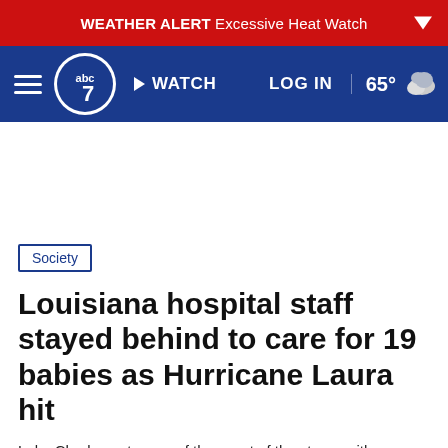WEATHER ALERT  Excessive Heat Watch
abc7  WATCH  LOG IN  65°
Society
Louisiana hospital staff stayed behind to care for 19 babies as Hurricane Laura hit
Lake Charles got some of the worst of the storm, with